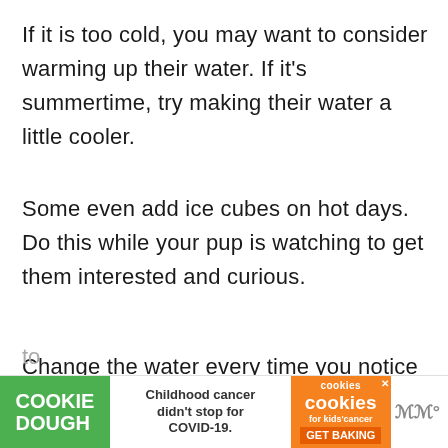If it is too cold, you may want to consider warming up their water. If it's summertime, try making their water a little cooler.
Some even add ice cubes on hot days. Do this while your pup is watching to get them interested and curious.
Change the water every time you notice something floating on it or when it has gotten to
[Figure (infographic): Advertisement banner for Cookie Dough with text 'Childhood cancer didn't stop for COVID-19.' and cookies for kids cancer GET BAKING call to action]